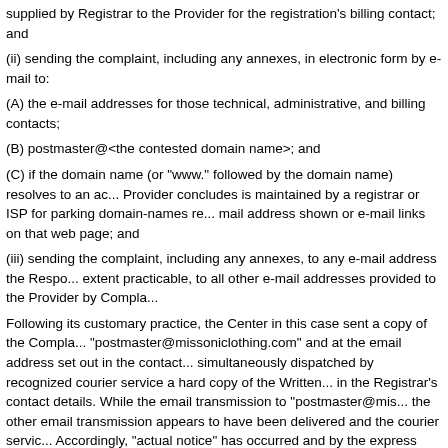supplied by Registrar to the Provider for the registration's billing contact; and
(ii) sending the complaint, including any annexes, in electronic form by e-mail to:
(A) the e-mail addresses for those technical, administrative, and billing contacts;
(B) postmaster@<the contested domain name>; and
(C) if the domain name (or "www." followed by the domain name) resolves to an ac... Provider concludes is maintained by a registrar or ISP for parking domain-names re... mail address shown or e-mail links on that web page; and
(iii) sending the complaint, including any annexes, to any e-mail address the Respo... extent practicable, to all other e-mail addresses provided to the Provider by Compla...
Following its customary practice, the Center in this case sent a copy of the Compla... "postmaster@missoniclothing.com" and at the email address set out in the contact... simultaneously dispatched by recognized courier service a hard copy of the Written... in the Registrar's contact details. While the email transmission to "postmaster@mis... the other email transmission appears to have been delivered and the courier servic... Accordingly, "actual notice" has occurred and by the express terms of the second s... discharged its duty, Respondent has received due notice of this proceeding, and th... proceeding.
B. Identical or Confusingly Similar; Rights or Legitimate Interests; an
Before turning to the three requirements of paragraph 4(a) of the Policy, as a proce... default does not constitute an admission of any pleaded matter or result in the Poli... of WIPO Panel Views on Selected UDRP Questions, paragraph 4.6; Stanworth De... Case No. D2007-1228; Western Research 3000, Inc. v. NEP Products, Inc., WIPO... Complainant to prove each of the three [Policy] elements" (emphasis in original)).
Complainant has met its burden of proof on each Policy element. The disputed dom...